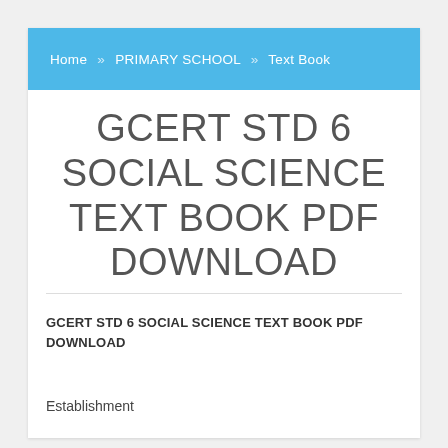Home » PRIMARY SCHOOL » Text Book
GCERT STD 6 SOCIAL SCIENCE TEXT BOOK PDF DOWNLOAD
GCERT STD 6 SOCIAL SCIENCE TEXT BOOK PDF DOWNLOAD
Establishment